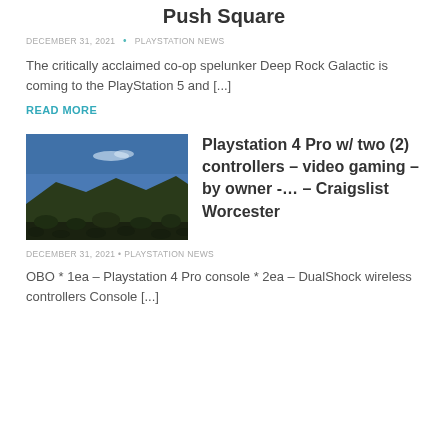Push Square
DECEMBER 31, 2021  •  PLAYSTATION NEWS
The critically acclaimed co-op spelunker Deep Rock Galactic is coming to the PlayStation 5 and [...]
READ MORE
[Figure (photo): Landscape photo with dark desert terrain and blue sky]
Playstation 4 Pro w/ two (2) controllers – video gaming – by owner -... – Craigslist Worcester
DECEMBER 31, 2021  •  PLAYSTATION NEWS
OBO * 1ea – Playstation 4 Pro console * 2ea – DualShock wireless controllers Console [...]